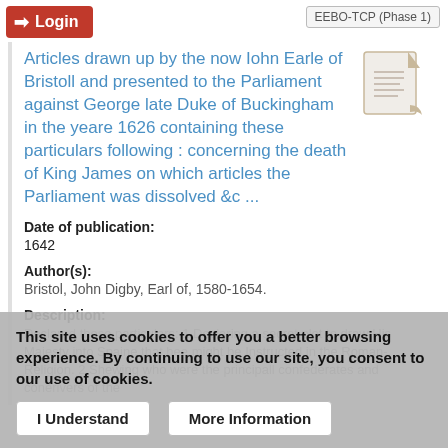EEBO-TCP (Phase 1)
Articles drawn up by the now Iohn Earle of Bristoll and presented to the Parliament against George late Duke of Buckingham in the yeare 1626 containing these particulars following : concerning the death of King James on which articles the Parliament was dissolved &c ...
Date of publication:
1642
Author(s):
Bristol, John Digby, Earl of, 1580-1654.
Description:
Declared these particulars: 1 Declaring a secret plot to draw His Majesty into Spaine that hee might be Instructed in the Roman-Religion. 2 Shewing who were the principall confederates and conerivers of the
This site uses cookies to offer you a better browsing experience. By continuing to use our site, you consent to our use of cookies.